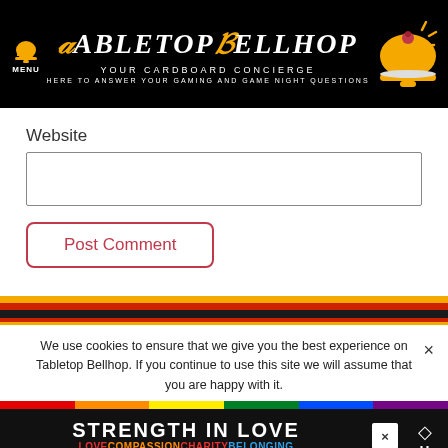[Figure (logo): Tabletop Bellhop website header with black background, bell icon, menu text, site name in white italic serif font with orange T and B letters, subtitle 'Your Cardboard Concierge', tagline 'Here to answer your gaming and game night questions', and a golden bell illustration on the right]
Website
[Figure (screenshot): Empty text input field for Website URL]
Post Comment
[Figure (illustration): Decorative horizontal stripe bar with orange, red, and black stripes]
We use cookies to ensure that we give you the best experience on Tabletop Bellhop. If you continue to use this site we will assume that you are happy with it.
[Figure (infographic): Rainbow colored strip above an advertisement banner reading STRENGTH IN LOVE with colorful text LOVE COMPASSION CHARITY BELONGING]